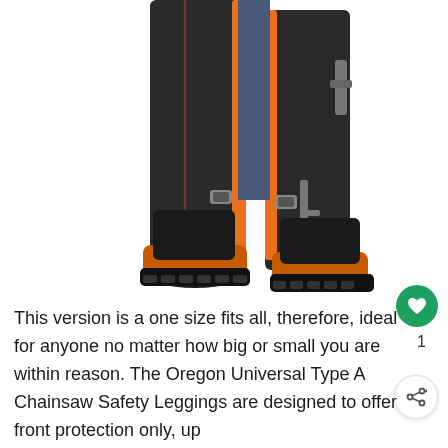[Figure (photo): A person wearing black chainsaw safety leggings with orange trim/stripe, over blue trousers, with orange and black steel-toe safety boots. Only the lower body (legs and boots) is visible against a white background.]
This version is a one size fits all, therefore, ideal for anyone no matter how big or small you are within reason. The Oregon Universal Type A Chainsaw Safety Leggings are designed to offer front protection only, up